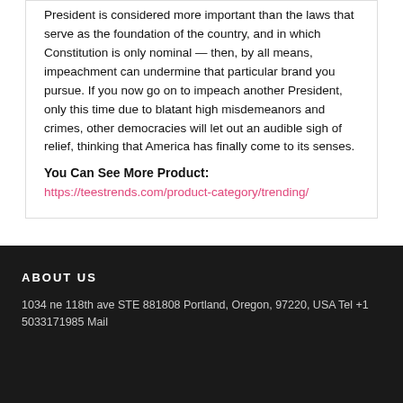President is considered more important than the laws that serve as the foundation of the country, and in which Constitution is only nominal — then, by all means, impeachment can undermine that particular brand you pursue. If you now go on to impeach another President, only this time due to blatant high misdemeanors and crimes, other democracies will let out an audible sigh of relief, thinking that America has finally come to its senses.
You Can See More Product:
https://teestrends.com/product-category/trending/
ABOUT US
1034 ne 118th ave STE 881808 Portland, Oregon, 97220, USA Tel +1 5033171985 Mail